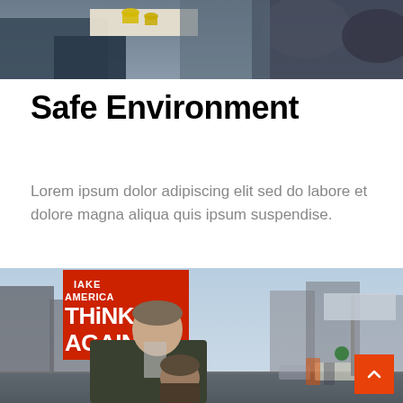[Figure (photo): Partial photo at the top of the page showing people seated, with a small table and yellow cups visible, cropped to show only the lower portion.]
Safe Environment
Lorem ipsum dolor adipiscing elit sed do labore et dolore magna aliqua quis ipsum suspendise.
[Figure (photo): A man holding a red protest sign reading 'Make America THINK AGAIN' stands on a city street with a child beside him. Urban buildings and a street scene are visible in the background.]